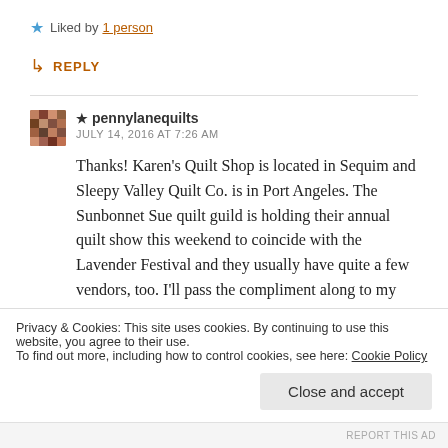★ Liked by 1 person
↳ REPLY
★ pennylanequilts
JULY 14, 2016 AT 7:26 AM
Thanks! Karen's Quilt Shop is located in Sequim and Sleepy Valley Quilt Co. is in Port Angeles. The Sunbonnet Sue quilt guild is holding their annual quilt show this weekend to coincide with the Lavender Festival and they usually have quite a few vendors, too. I'll pass the compliment along to my son about the
Privacy & Cookies: This site uses cookies. By continuing to use this website, you agree to their use.
To find out more, including how to control cookies, see here: Cookie Policy
Close and accept